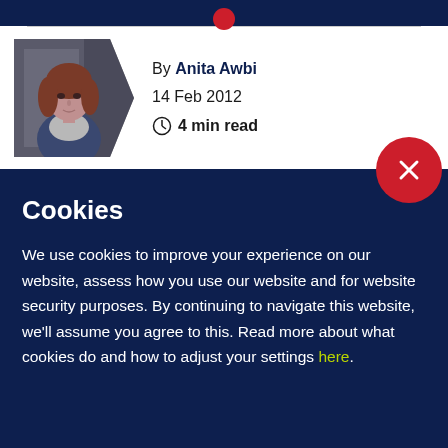[Figure (photo): Circular author photo of a woman with red/brown hair wearing a grey scarf and blue jacket, clipped with a chevron/arrow shape pointing right]
By Anita Awbi
14 Feb 2012
4 min read
Cookies
We use cookies to improve your experience on our website, assess how you use our website and for website security purposes. By continuing to navigate this website, we'll assume you agree to this. Read more about what cookies do and how to adjust your settings here.